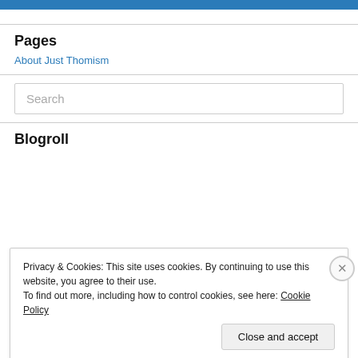Pages
About Just Thomism
Search
Blogroll
Privacy & Cookies: This site uses cookies. By continuing to use this website, you agree to their use.
To find out more, including how to control cookies, see here: Cookie Policy
Close and accept